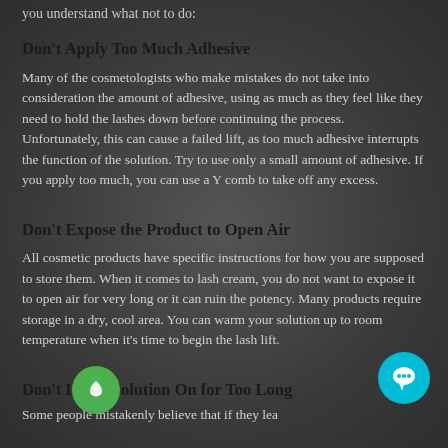you understand what not to do:
Don't Apply Too Much Adhesive
Many of the cosmetologists who make mistakes do not take into consideration the amount of adhesive, using as much as they feel like they need to hold the lashes down before continuing the process. Unfortunately, this can cause a failed lift, as too much adhesive interrupts the function of the solution. Try to use only a small amount of adhesive. If you apply too much, you can use a Y comb to take off any excess.
Don't Expose the Product to Open Air
All cosmetic products have specific instructions for how you are supposed to store them. When it comes to lash cream, you do not want to expose it to open air for very long or it can ruin the potency. Many products require storage in a dry, cool area. You can warm your solution up to room temperature when it's time to begin the lash lift.
Don't Leave Solution On for Too Long
Some people mistakenly believe that if they lea